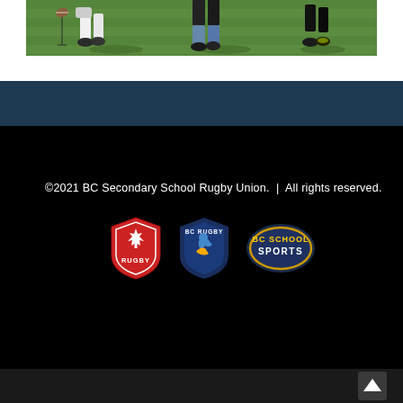[Figure (photo): Rugby players' legs and feet on grass field during a match, showing players in action at ground level]
©2021 BC Secondary School Rugby Union.  |  All rights reserved.
[Figure (logo): Three logos: Rugby Canada (red maple leaf shield with RUGBY text), BC Rugby (blue shield with stylized figure), BC School Sports (dark blue oval with gold text)]
[Figure (other): White up-arrow icon on dark bottom bar]